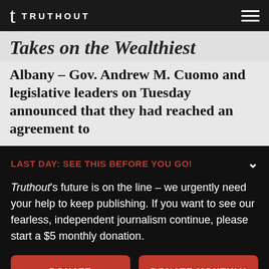t TRUTHOUT
Takes on the Wealthiest
Albany – Gov. Andrew M. Cuomo and legislative leaders on Tuesday announced that they had reached an agreement to
LAST DAY: SEE THIS BEFORE YOU GO!
Truthout's future is on the line – we urgently need your help to keep publishing. If you want to see our fearless, independent journalism continue, please start a $5 monthly donation.
DONATE
DONATE MONTHLY